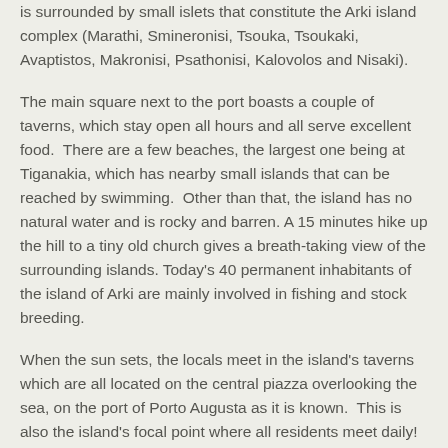is surrounded by small islets that constitute the Arki island complex (Marathi, Smineronisi, Tsouka, Tsoukaki, Avaptistos, Makronisi, Psathonisi, Kalovolos and Nisaki).
The main square next to the port boasts a couple of taverns, which stay open all hours and all serve excellent food.  There are a few beaches, the largest one being at Tiganakia, which has nearby small islands that can be reached by swimming.  Other than that, the island has no natural water and is rocky and barren. A 15 minutes hike up the hill to a tiny old church gives a breath-taking view of the surrounding islands. Today's 40 permanent inhabitants of the island of Arki are mainly involved in fishing and stock breeding.
When the sun sets, the locals meet in the island's taverns which are all located on the central piazza overlooking the sea, on the port of Porto Augusta as it is known.  This is also the island's focal point where all residents meet daily!  There is not so much to 'see' here, but the atmosphere can be enticing. There are few facilities on the island with only a handful of rooms and only one very small mini-market, so don't expect the same type of treatment you would get in the nearby resort islands.